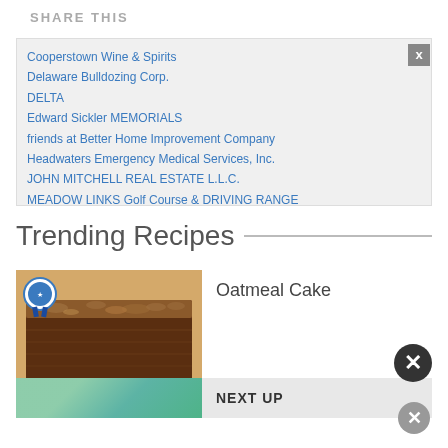SHARE THIS
Cooperstown Wine & Spirits
Delaware Bulldozing Corp.
DELTA
Edward Sickler MEMORIALS
friends at Better Home Improvement Company
Headwaters Emergency Medical Services, Inc.
JOHN MITCHELL REAL ESTATE L.L.C.
MEADOW LINKS Golf Course & DRIVING RANGE
Midstate Arms Collectors
Trending Recipes
[Figure (photo): Photo of oatmeal cake slice with a blue ribbon badge overlay]
Oatmeal Cake
NEXT UP